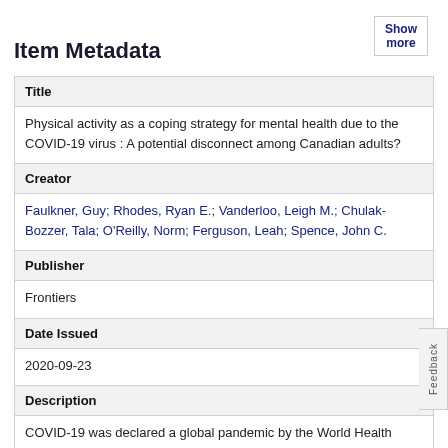Item Metadata
| Field | Value |
| --- | --- |
| Title | Physical activity as a coping strategy for mental health due to the COVID-19 virus : A potential disconnect among Canadian adults? |
| Creator | Faulkner, Guy; Rhodes, Ryan E.; Vanderloo, Leigh M.; Chulak-Bozzer, Tala; O'Reilly, Norm; Ferguson, Leah; Spence, John C. |
| Publisher | Frontiers |
| Date Issued | 2020-09-23 |
| Description | COVID-19 was declared a global pandemic by the World Health Organization on March 11, 2020. The COVID-19 pandemic and |